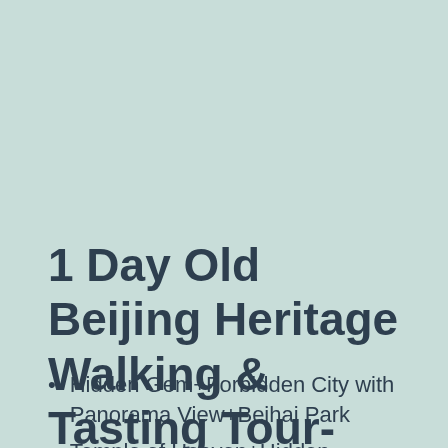1 Day Old Beijing Heritage Walking & Tasting Tour-Route 2
Hidden Gem+Forbidden City with Panorama View+Beihai Park
Temple of Heaven+Hidden